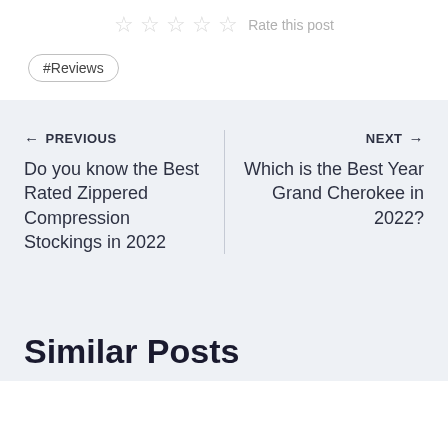[Figure (other): Five empty star rating icons with 'Rate this post' label]
#Reviews
← PREVIOUS
Do you know the Best Rated Zippered Compression Stockings in 2022
NEXT →
Which is the Best Year Grand Cherokee in 2022?
Similar Posts